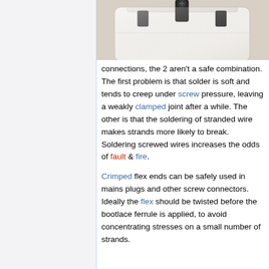[Figure (photo): Photo of a white mains plug viewed from the top, showing the plug body and pin connections against a beige/cream background.]
connections, the 2 aren't a safe combination. The first problem is that solder is soft and tends to creep under screw pressure, leaving a weakly clamped joint after a while. The other is that the soldering of stranded wire makes strands more likely to break. Soldering screwed wires increases the odds of fault & fire.
Crimped flex ends can be safely used in mains plugs and other screw connectors. Ideally the flex should be twisted before the bootlace ferrule is applied, to avoid concentrating stresses on a small number of strands.